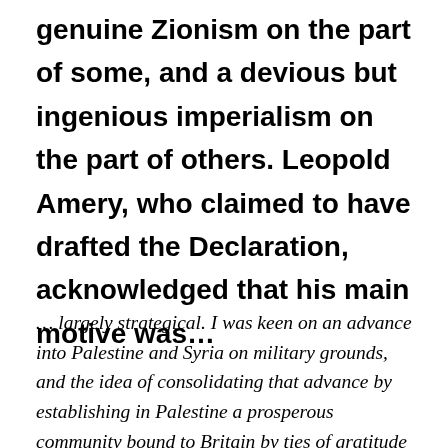genuine Zionism on the part of some, and a devious but ingenious imperialism on the part of others. Leopold Amery, who claimed to have drafted the Declaration, acknowledged that his main motive was…
… largely strategical. I was keen on an advance into Palestine and Syria on military grounds, and the idea of consolidating that advance by establishing in Palestine a prosperous community bound to Britain by ties of gratitude and interest naturally appealed to me. I already had doubts as to the permanence of our protectorate in Egypt